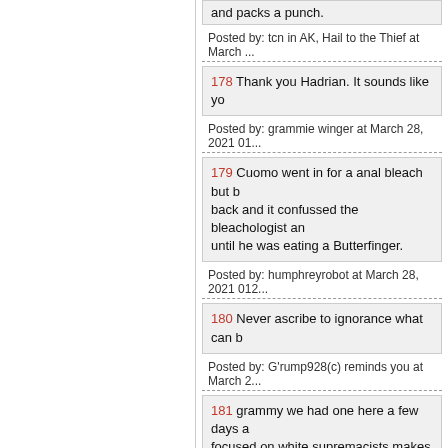and packs a punch.
Posted by: tcn in AK, Hail to the Thief at March ...
178 Thank you Hadrian. It sounds like yo...
Posted by: grammie winger at March 28, 2021 01...
179 Cuomo went in for a anal bleach but b... back and it confussed the bleachologist an... until he was eating a Butterfinger.
Posted by: humphreyrobot at March 28, 2021 01...
180 Never ascribe to ignorance what can b...
Posted by: G'rump928(c) reminds you at March 2...
181 grammy we had one here a few days a... focused on white supremacists makes the... news
Posted by: Skip at March 28, 2021 01:56 PM (Cx...